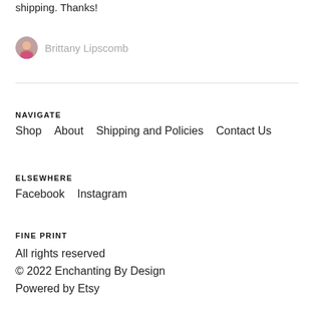shipping. Thanks!
Brittany Lipscomb
NAVIGATE
Shop   About   Shipping and Policies   Contact Us
ELSEWHERE
Facebook   Instagram
FINE PRINT
All rights reserved
© 2022 Enchanting By Design
Powered by Etsy